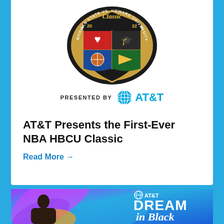[Figure (logo): 2022 NBA HBCU Classic shield logo - Morgan State vs. Howard University, presented by AT&T]
AT&T Presents the First-Ever NBA HBCU Classic
Read More →
[Figure (photo): AT&T Dream in Black promotional banner featuring a Black woman looking upward, with colorful swirls on a blue background and AT&T Dream in Black text on the right]